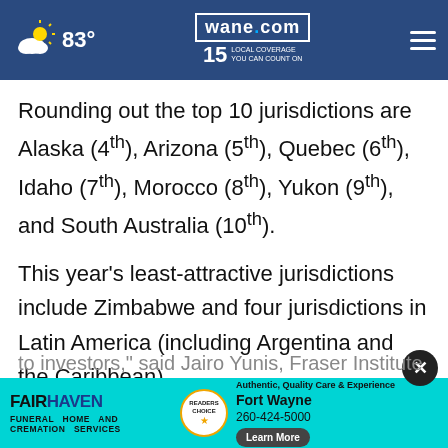wane.com 15 LOCAL COVERAGE YOU CAN COUNT ON | 83°
Rounding out the top 10 jurisdictions are Alaska (4th), Arizona (5th), Quebec (6th), Idaho (7th), Morocco (8th), Yukon (9th), and South Australia (10th).
This year's least-attractive jurisdictions include Zimbabwe and four jurisdictions in Latin America (including Argentina and the Caribbean).
“A sound regulatory regime coupled wi... comp... itive to investors,” said Jairo Yunis, Fraser Institute
[Figure (advertisement): FairHaven Funeral Home and Cremation Services ad. Authentic, Quality Care & Experience. Fort Wayne. 260-424-5000. Learn More button.]